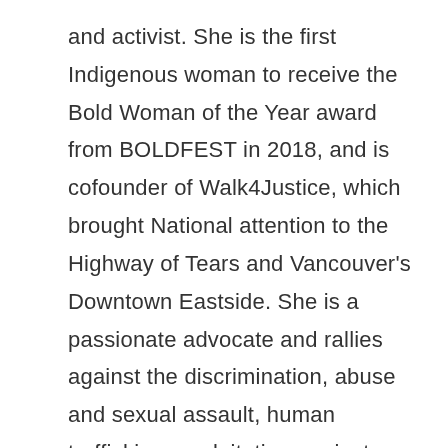and activist. She is the first Indigenous woman to receive the Bold Woman of the Year award from BOLDFEST in 2018, and is cofounder of Walk4Justice, which brought National attention to the Highway of Tears and Vancouver's Downtown Eastside. She is a passionate advocate and rallies against the discrimination, abuse and sexual assault, human trafficking, exploitation against Aboriginal and LGBTQ2S women and girls.